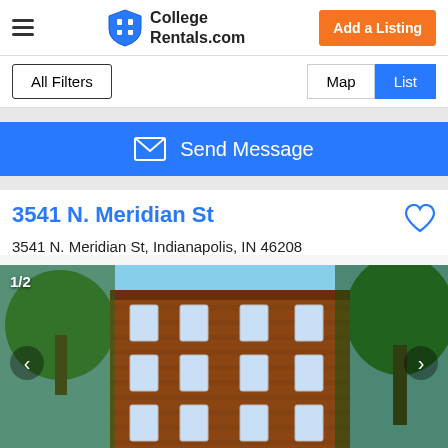CollegeRentals.com — Add a Listing
All Filters | Map | List
Send Message
3541 N. Meridian St
3541 N. Meridian St, Indianapolis, IN 46208
[Figure (photo): Exterior photo of a multi-story red brick apartment building at 3541 N. Meridian St, Indianapolis. Trees surround the building. Photo counter shows 1/2.]